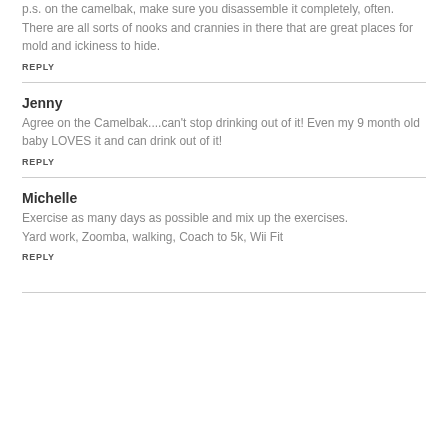p.s. on the camelbak, make sure you disassemble it completely, often. There are all sorts of nooks and crannies in there that are great places for mold and ickiness to hide.
REPLY
Jenny
Agree on the Camelbak....can't stop drinking out of it! Even my 9 month old baby LOVES it and can drink out of it!
REPLY
Michelle
Exercise as many days as possible and mix up the exercises.
Yard work, Zoomba, walking, Coach to 5k, Wii Fit
REPLY